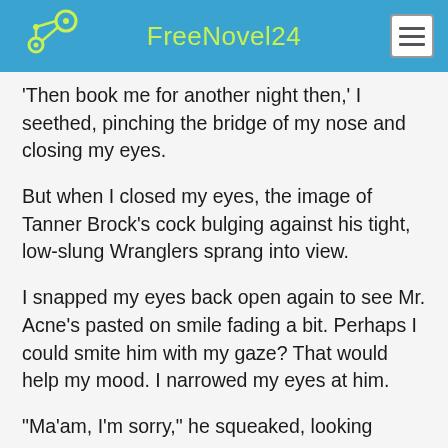FreeNovel24
'Then book me for another night then,' I seethed, pinching the bridge of my nose and closing my eyes.
But when I closed my eyes, the image of Tanner Brock's cock bulging against his tight, low-slung Wranglers sprang into view.
I snapped my eyes back open again to see Mr. Acne's pasted on smile fading a bit. Perhaps I could smite him with my gaze? That would help my mood. I narrowed my eyes at him.
"Ma'am, I'm sorry," he squeaked, looking